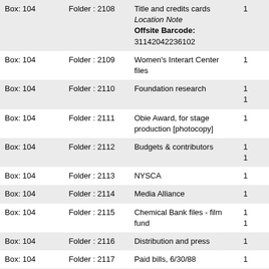| Box | Folder | Description |  |
| --- | --- | --- | --- |
| Box: 104 | Folder : 2108 | Title and credits cards
Location Note
Offsite Barcode: 31142042236102 | 1 |
| Box: 104 | Folder : 2109 | Women's Interart Center files | 1 |
| Box: 104 | Folder : 2110 | Foundation research | 1 1 |
| Box: 104 | Folder : 2111 | Obie Award, for stage production [photocopy] | 1 |
| Box: 104 | Folder : 2112 | Budgets & contributors | 1 1 |
| Box: 104 | Folder : 2113 | NYSCA | 1 |
| Box: 104 | Folder : 2114 | Media Alliance | 1 |
| Box: 104 | Folder : 2115 | Chemical Bank files - film fund | 1 1 |
| Box: 104 | Folder : 2116 | Distribution and press | 1 |
| Box: 104 | Folder : 2117 | Paid bills, 6/30/88 | 1 |
| Box: 104 | Folder : 2118 | Distribution - correspondence, inquiries, & film mkt. list | 1 1 |
| Box: 104 | Folder : 2119 | Independent feature production... |  |